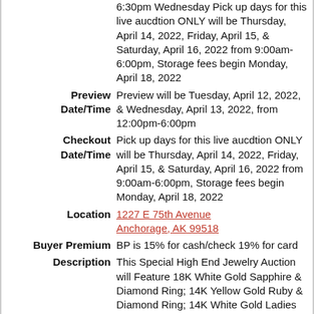6:30pm Wednesday Pick up days for this live aucdtion ONLY will be Thursday, April 14, 2022, Friday, April 15, & Saturday, April 16, 2022 from 9:00am-6:00pm, Storage fees begin Monday, April 18, 2022
Preview Date/Time: Preview will be Tuesday, April 12, 2022, & Wednesday, April 13, 2022, from 12:00pm-6:00pm
Checkout Date/Time: Pick up days for this live aucdtion ONLY will be Thursday, April 14, 2022, Friday, April 15, & Saturday, April 16, 2022 from 9:00am-6:00pm, Storage fees begin Monday, April 18, 2022
Location: 1227 E 75th Avenue Anchorage, AK 99518
Buyer Premium: BP is 15% for cash/check 19% for card
Description: This Special High End Jewelry Auction will Feature 18K White Gold Sapphire & Diamond Ring; 14K Yellow Gold Ruby & Diamond Ring; 14K White Gold Ladies Custom Made Diamond & Tanzanite